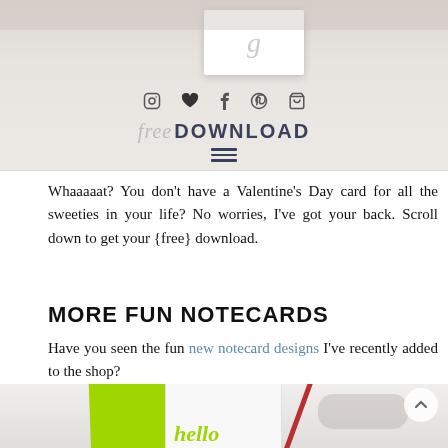[Figure (photo): Top portion of a blog page showing a white card with cursive 'g', social media icons (Instagram, heart, Facebook, Pinterest, shopping cart), and a 'free DOWNLOAD' button with hamburger menu lines below, on a light gray background.]
Whaaaaat? You don't have a Valentine's Day card for all the sweeties in your life? No worries, I've got your back. Scroll down to get your {free} download.
MORE FUN NOTECARDS
Have you seen the fun new notecard designs I've recently added to the shop?
[Figure (photo): Bottom portion of the page showing stationery notecards — a bright green envelope, a white card with 'hello' in green script, red ribbon/pencil, and glasses partially visible, on a light gray background with a back-to-top arrow button.]